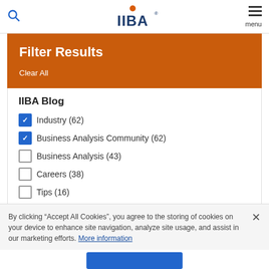IIBA
Filter Results
Clear All
IIBA Blog
Industry (62) [checked]
Business Analysis Community (62) [checked]
Business Analysis (43)
Careers (38)
Tips (16)
By clicking “Accept All Cookies”, you agree to the storing of cookies on your device to enhance site navigation, analyze site usage, and assist in our marketing efforts. More information